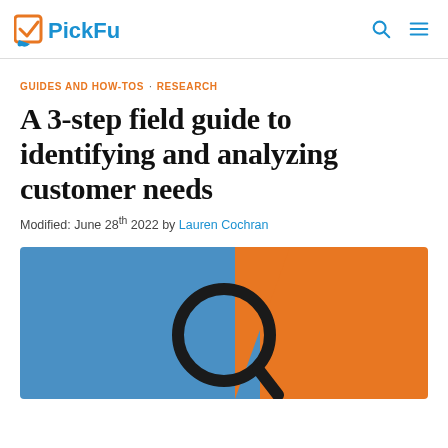PickFu
GUIDES AND HOW-TOS · RESEARCH
A 3-step field guide to identifying and analyzing customer needs
Modified: June 28th 2022 by Lauren Cochran
[Figure (photo): A magnifying glass lens resting on a two-tone background split diagonally between blue (left) and orange (right)]